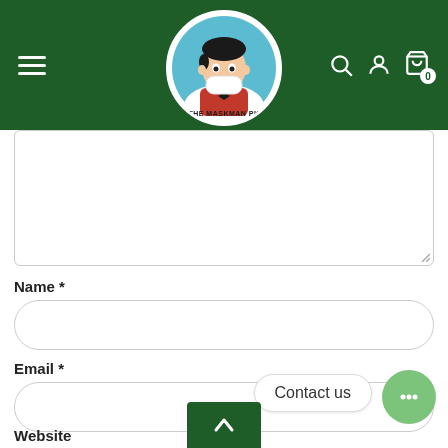[Figure (screenshot): Website header with dark green background, hamburger menu on left, circular logo in center (The Maskman PK - cartoon character wearing a mask), and search, user, and cart icons on right]
[Figure (screenshot): A large text area input field (empty, white) with a resize handle in bottom-right corner]
Name *
[Figure (screenshot): Rounded rectangle input field for Name]
Email *
[Figure (screenshot): Rounded rectangle input field for Email]
Contact us
Website
[Figure (illustration): Green circular chat bubble button with three dots (ellipsis) icon]
[Figure (illustration): Dark green back-to-top arrow button]